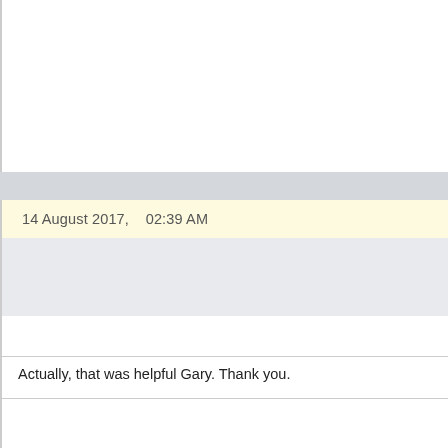14 August 2017,   02:39 AM
Ron Duke
Member
Re: Laptop for College
Actually, that was helpful Gary. Thank you.
R o n a l d   C .   D u k e
x a r a . c o m   a r t i s t s   g a l l e r y
Xara's Facebook
Xara Designer Pro X 16, Xara 3D7 Web Designer